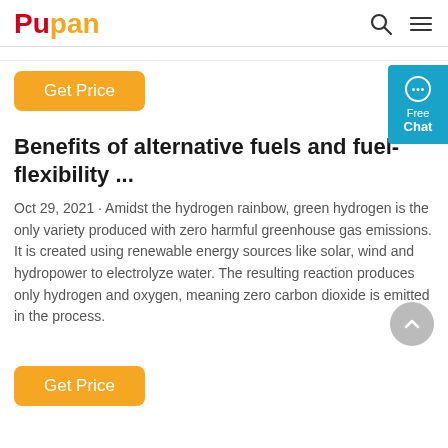Pupan
Get Price
Benefits of alternative fuels and fuel-flexibility ...
Oct 29, 2021 · Amidst the hydrogen rainbow, green hydrogen is the only variety produced with zero harmful greenhouse gas emissions. It is created using renewable energy sources like solar, wind and hydropower to electrolyze water. The resulting reaction produces only hydrogen and oxygen, meaning zero carbon dioxide is emitted in the process.
Get Price